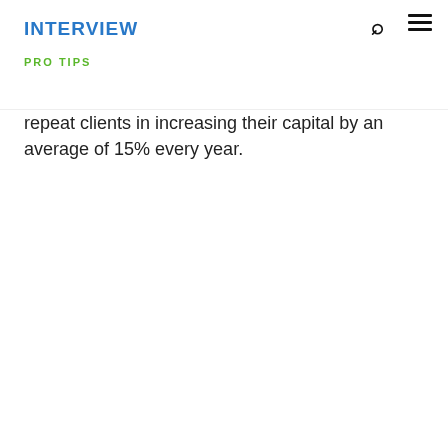INTERVIEW PRO TIPS
repeat clients in increasing their capital by an average of 15% every year.